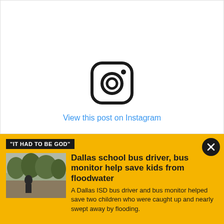[Figure (logo): Instagram logo icon — rounded square outline with camera lens circle and dot]
View this post on Instagram
"IT HAD TO BE GOD"
[Figure (photo): Thumbnail photo showing children near floodwater with trees in background]
Dallas school bus driver, bus monitor help save kids from floodwater
A Dallas ISD bus driver and bus monitor helped save two children who were caught up and nearly swept away by flooding.